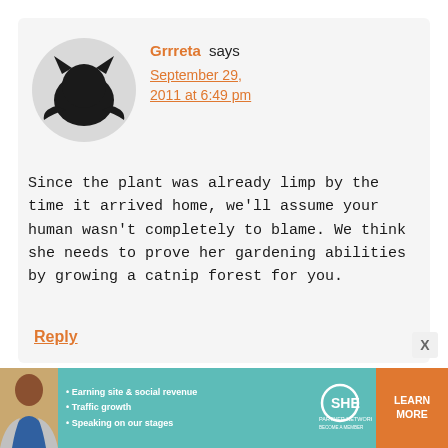[Figure (illustration): Circular avatar with dark gray background and a black cat-like silhouette icon]
Grrreta says September 29, 2011 at 6:49 pm
Since the plant was already limp by the time it arrived home, we'll assume your human wasn't completely to blame. We think she needs to prove her gardening abilities by growing a catnip forest for you.
Reply
[Figure (infographic): SHE Partner Network advertisement banner with photo of woman, bullet points: Earning site & social revenue, Traffic growth, Speaking on our stages, SHE logo, and LEARN MORE button]